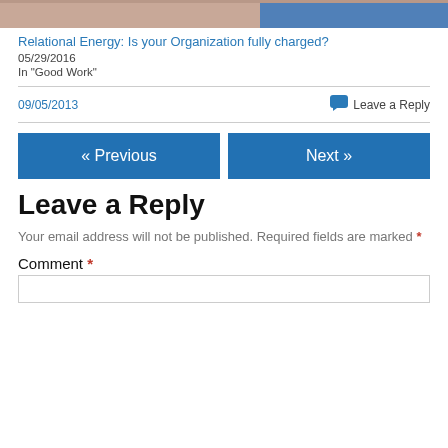[Figure (photo): Partial cropped photo showing skin tones and blue clothing at top of page]
Relational Energy: Is your Organization fully charged?
05/29/2016
In "Good Work"
09/05/2013
Leave a Reply
« Previous
Next »
Leave a Reply
Your email address will not be published. Required fields are marked *
Comment *